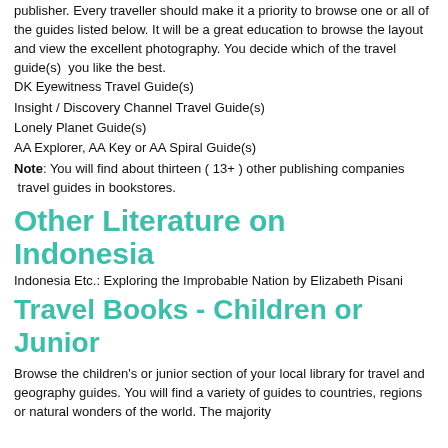publisher. Every traveller should make it a priority to browse one or all of the guides listed below. It will be a great education to browse the layout and view the excellent photography. You decide which of the travel guide(s) you like the best.
DK Eyewitness Travel Guide(s)
Insight / Discovery Channel Travel Guide(s)
Lonely Planet Guide(s)
AA Explorer, AA Key or AA Spiral Guide(s)
Note: You will find about thirteen ( 13+ ) other publishing companies travel guides in bookstores.
Other Literature on Indonesia
Indonesia Etc.: Exploring the Improbable Nation by Elizabeth Pisani
Travel Books - Children or Junior
Browse the children's or junior section of your local library for travel and geography guides. You will find a variety of guides to countries, regions or natural wonders of the world. The majority